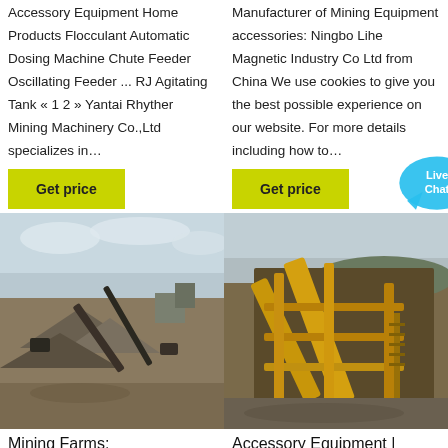Accessory Equipment Home Products Flocculant Automatic Dosing Machine Chute Feeder Oscillating Feeder ... RJ Agitating Tank « 1 2 » Yantai Rhyther Mining Machinery Co.,Ltd specializes in…
Manufacturer of Mining Equipment accessories: Ningbo Lihe Magnetic Industry Co Ltd from China We use cookies to give you the best possible experience on our website. For more details including how to…
[Figure (other): Button: Get price (yellow/olive background)]
[Figure (other): Button: Get price (yellow/olive background)]
[Figure (photo): Mining farm site with conveyor belts, gravel piles, and machinery on open ground, overcast sky]
[Figure (photo): Yellow mining accessory equipment with conveyor belts and structural framework at a mining site]
Mining Farms: Equipment and
Accessory Equipment | Yantai Rhyther Mining